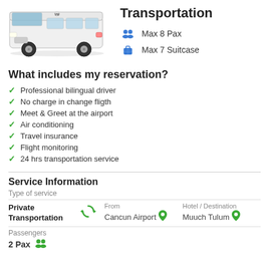[Figure (photo): White Volkswagen Transporter van viewed from front-left angle]
Transportation
Max 8 Pax
Max 7 Suitcase
What includes my reservation?
Professional bilingual driver
No charge in change fligth
Meet & Greet at the airport
Air conditioning
Travel insurance
Flight monitoring
24 hrs transportation service
Service Information
Type of service
Private Transportation  From: Cancun Airport  Hotel / Destination: Muuch Tulum
Passengers
2 Pax